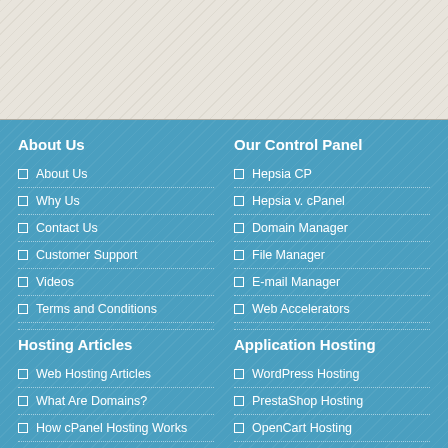About Us
About Us
Why Us
Contact Us
Customer Support
Videos
Terms and Conditions
Hosting Articles
Web Hosting Articles
What Are Domains?
How cPanel Hosting Works
VPS Hosting
Our Control Panel
Hepsia CP
Hepsia v. cPanel
Domain Manager
File Manager
E-mail Manager
Web Accelerators
Application Hosting
WordPress Hosting
PrestaShop Hosting
OpenCart Hosting
Joomla Hosting